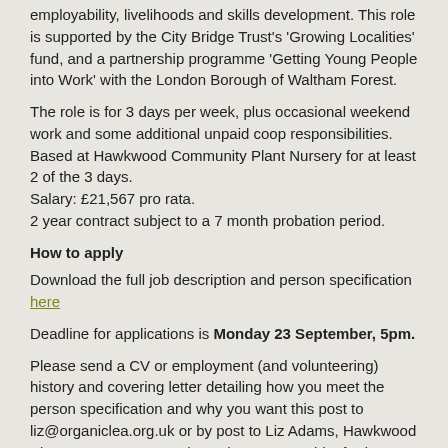employability, livelihoods and skills development. This role is supported by the City Bridge Trust's 'Growing Localities' fund, and a partnership programme 'Getting Young People into Work' with the London Borough of Waltham Forest.
The role is for 3 days per week, plus occasional weekend work and some additional unpaid coop responsibilities. Based at Hawkwood Community Plant Nursery for at least 2 of the 3 days.
Salary: £21,567 pro rata.
2 year contract subject to a 7 month probation period.
How to apply
Download the full job description and person specification here
Deadline for applications is Monday 23 September, 5pm.
Please send a CV or employment (and volunteering) history and covering letter detailing how you meet the person specification and why you want this post to liz@organiclea.org.uk or by post to Liz Adams, Hawkwood Plant Nursery, 115 Hawkwood Crescent, Chingford, E4 7UH. For more information about this role please call 020 8524 4994 (Liz Adams or Clare Joy).